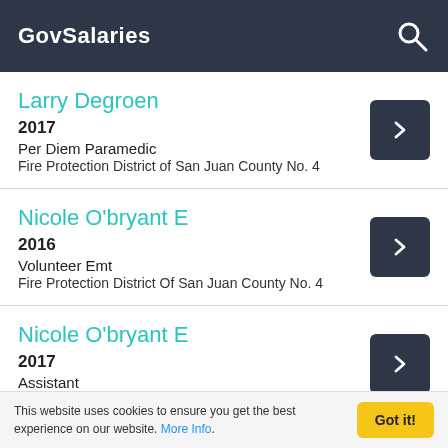GovSalaries
Larry Degroen
2017
Per Diem Paramedic
Fire Protection District of San Juan County No. 4
Nicole O'bryant E
2016
Volunteer Emt
Fire Protection District Of San Juan County No. 4
Nicole O'bryant E
2017
Assistant
Fire Protection District of San Juan County No. 4
This website uses cookies to ensure you get the best experience on our website. More Info.